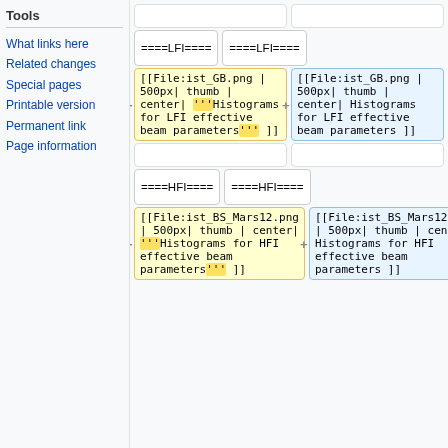Tools
What links here
Related changes
Special pages
Printable version
Permanent link
Page information
====LFI====
[[File:ist_GB.png | 500px| thumb | center| '''Histograms for LFI effective beam parameters''' ]]
[[File:ist_GB.png | 500px| thumb | center| Histograms for LFI effective beam parameters ]]
====HFI====
[[File:ist_BS_Mars12.png | 500px| thumb | center| '''Histograms for HFI effective beam parameters''' ]]
[[File:ist_BS_Mars12.png | 500px| thumb | center| Histograms for HFI effective beam parameters ]]